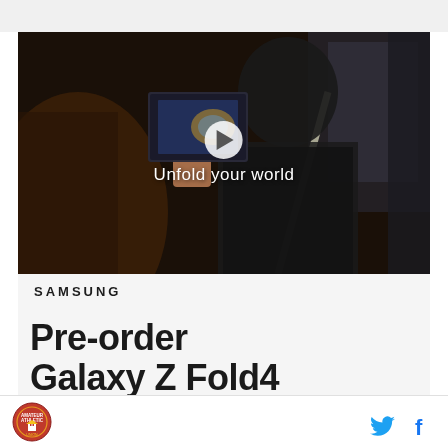[Figure (screenshot): Samsung Galaxy Z Fold4 promotional video thumbnail showing a woman in a car holding an open foldable phone, with 'Unfold your world' text overlay and a play button in the center]
SAMSUNG
Pre-order
Galaxy Z Fold4
[Figure (logo): Circular red emblem/badge logo on the left]
[Figure (logo): Twitter bird icon (blue) and Facebook 'f' icon (blue) social media sharing icons on the right]